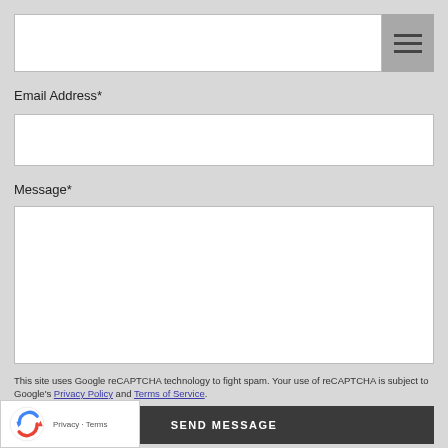[Figure (screenshot): Top navigation bar with empty text input field and hamburger menu icon button]
Email Address*
[Figure (screenshot): Empty email address text input field]
Message*
[Figure (screenshot): Empty message textarea input field]
This site uses Google reCAPTCHA technology to fight spam. Your use of reCAPTCHA is subject to Google's Privacy Policy and Terms of Service.
[Figure (logo): Google reCAPTCHA badge widget with reCAPTCHA logo and Privacy - Terms links]
SEND MESSAGE